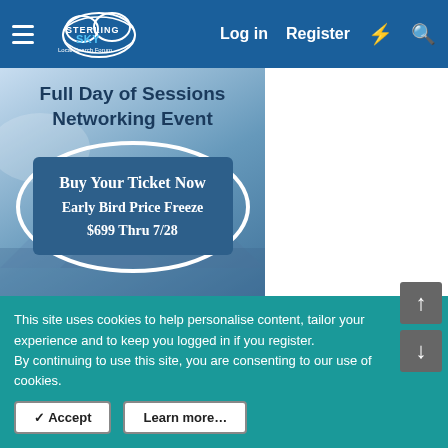Sterling Sky Local Search Forum — Log in | Register
[Figure (illustration): Event promotion banner showing 'Full Day of Sessions Networking Event' with a button overlay reading 'Buy Your Ticket Now Early Bird Price Freeze $699 thru 7/28']
Newest Posts
Location Spam in Business Name
Latest: Annika Neudecker · 25 minutes ago
Google Business Profile (GBP) & Google Maps
This site uses cookies to help personalise content, tailor your experience and to keep you logged in if you register.
By continuing to use this site, you are consenting to our use of cookies.